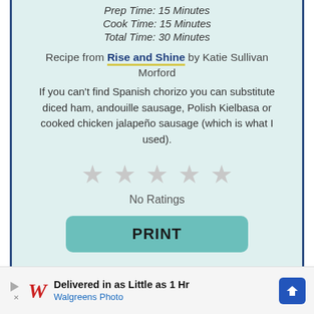Prep Time: 15 Minutes
Cook Time: 15 Minutes
Total Time: 30 Minutes
Recipe from Rise and Shine by Katie Sullivan Morford
If you can't find Spanish chorizo you can substitute diced ham, andouille sausage, Polish Kielbasa or cooked chicken jalapeño sausage (which is what I used).
[Figure (other): Five gray empty star rating icons]
No Ratings
PRINT
Delivered in as Little as 1 Hr
Walgreens Photo